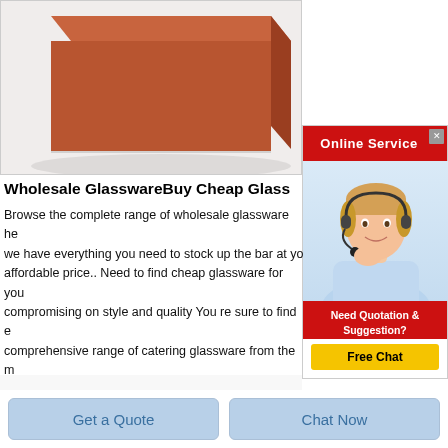[Figure (photo): Brick/block shaped product image with terracotta/orange-brown color on light background]
[Figure (infographic): Online Service ad panel with red header, customer service representative photo, and Free Chat button. Header: Online Service. Body: Need Quotation & Suggestion? Free Chat button in yellow.]
Wholesale GlasswareBuy Cheap Glass
Browse the complete range of wholesale glassware he we have everything you need to stock up the bar at yo affordable price.. Need to find cheap glassware for you compromising on style and quality You re sure to find e comprehensive range of catering glassware from the m
[Figure (photo): Metallic tubes/cylinders stacked together, dark gray color]
Get a Quote
Chat Now